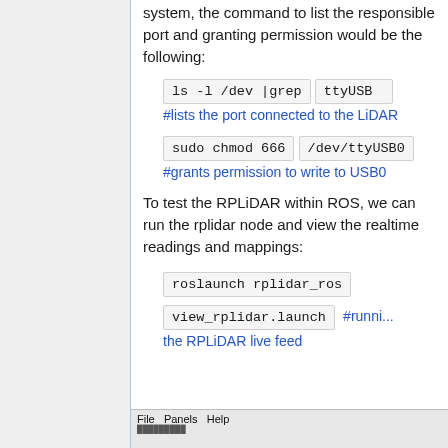system, the command to list the responsible port and granting permission would be the following:
ls -l /dev |grep ttyUSB #lists the port connected to the LiDAR
sudo chmod 666 /dev/ttyUSB0 #grants permission to write to USB0
To test the RPLiDAR within ROS, we can run the rplidar node and view the realtime readings and mappings:
roslaunch rplidar_ros view_rplidar.launch #running the RPLiDAR live feed
[Figure (screenshot): Bottom portion of a GUI application window showing a menu bar with File, Panels, Help.]